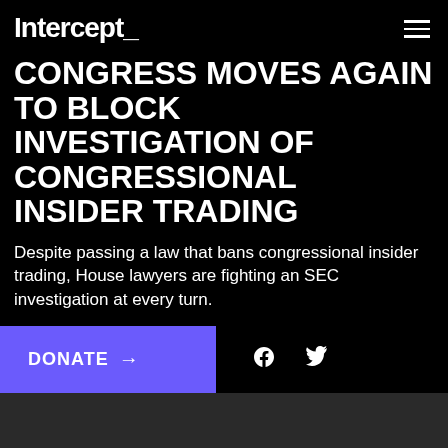Intercept_
CONGRESS MOVES AGAIN TO BLOCK INVESTIGATION OF CONGRESSIONAL INSIDER TRADING
Despite passing a law that bans congressional insider trading, House lawyers are fighting an SEC investigation at every turn.
Lee Fang
December 1 2015, 8:26 p.m.
DONATE →